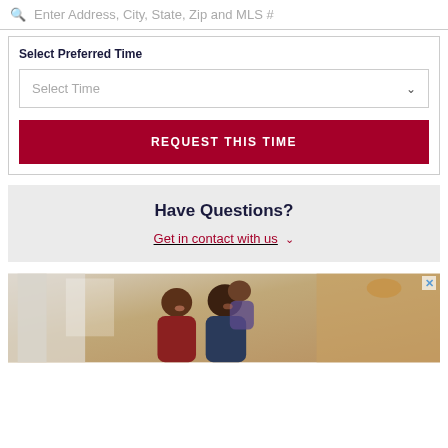Enter Address, City, State, Zip and MLS #
Select Preferred Time
Select Time
REQUEST THIS TIME
Have Questions?
Get in contact with us
[Figure (photo): Family photo showing a woman, man, and young child smiling together indoors]